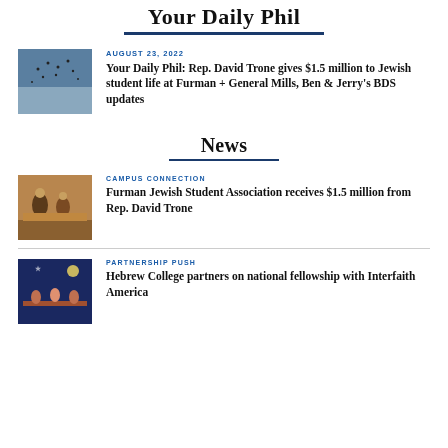Your Daily Phil
AUGUST 23, 2022
Your Daily Phil: Rep. David Trone gives $1.5 million to Jewish student life at Furman + General Mills, Ben & Jerry's BDS updates
News
CAMPUS CONNECTION
Furman Jewish Student Association receives $1.5 million from Rep. David Trone
PARTNERSHIP PUSH
Hebrew College partners on national fellowship with Interfaith America